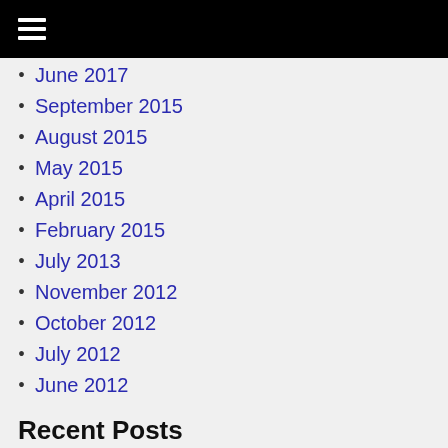≡
June 2017
September 2015
August 2015
May 2015
April 2015
February 2015
July 2013
November 2012
October 2012
July 2012
June 2012
Recent Posts
Working Papers
Family Reunion 2021
Store Credit in a Small Town
Categories
Administration (1)